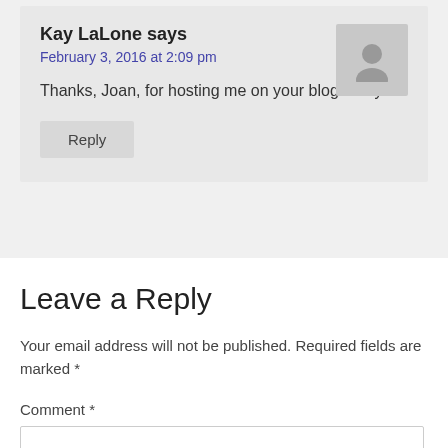Kay LaLone says
February 3, 2016 at 2:09 pm
Thanks, Joan, for hosting me on your blog today.
Reply
Leave a Reply
Your email address will not be published. Required fields are marked *
Comment *